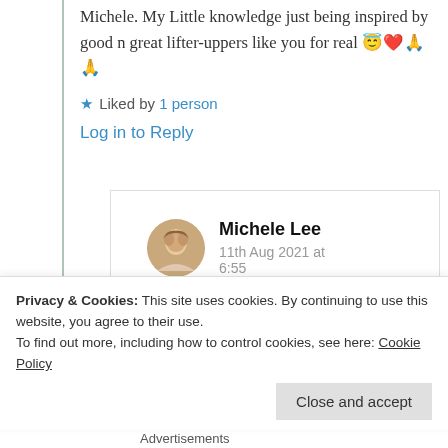Michele. My Little knowledge just being inspired by good n great lifter-uppers like you for real 😇❤️🙏🙏
★ Liked by 1 person
Log in to Reply
Michele Lee
11th Aug 2021 at 6:55
Privacy & Cookies: This site uses cookies. By continuing to use this website, you agree to their use.
To find out more, including how to control cookies, see here: Cookie Policy
Close and accept
Advertisements